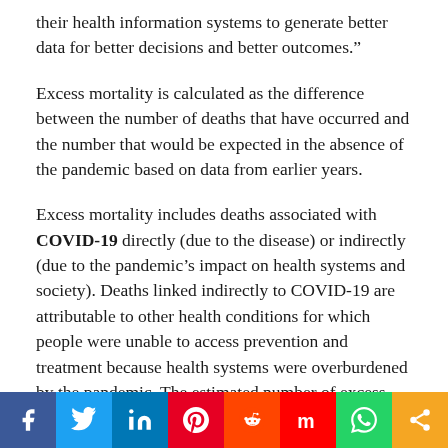their health information systems to generate better data for better decisions and better outcomes."
Excess mortality is calculated as the difference between the number of deaths that have occurred and the number that would be expected in the absence of the pandemic based on data from earlier years.
Excess mortality includes deaths associated with COVID-19 directly (due to the disease) or indirectly (due to the pandemic's impact on health systems and society). Deaths linked indirectly to COVID-19 are attributable to other health conditions for which people were unable to access prevention and treatment because health systems were overburdened by the pandemic. The estimated number of excess deaths can be influenced also by deaths averted during the pandemic due to lower risks of certain events,
[Figure (infographic): Social media share bar with icons for Facebook, Twitter, LinkedIn, Pinterest, Reddit, Mix, WhatsApp, and a generic share button]